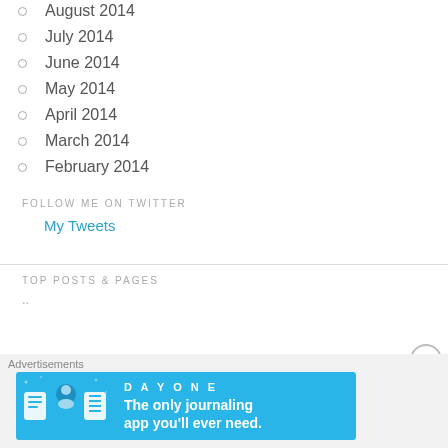August 2014
July 2014
June 2014
May 2014
April 2014
March 2014
February 2014
FOLLOW ME ON TWITTER
My Tweets
TOP POSTS & PAGES
[Figure (other): Advertisement banner: DAY ONE - The only journaling app you'll ever need.]